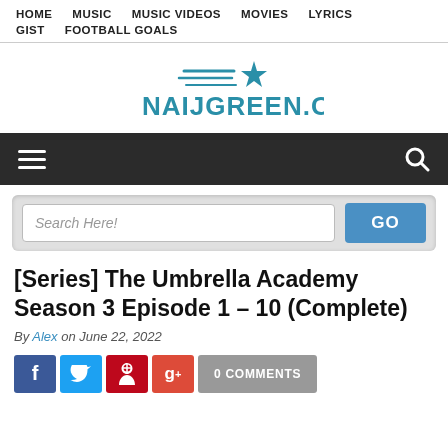HOME  MUSIC  MUSIC VIDEOS  MOVIES  LYRICS  GIST  FOOTBALL GOALS
[Figure (logo): Naijgreen.com logo with star and speed lines, teal/blue color]
[Figure (other): Dark navigation bar with hamburger menu icon on left and search icon on right]
[Figure (other): Search bar with 'Search Here!' input and blue GO button]
[Series] The Umbrella Academy Season 3 Episode 1 – 10 (Complete)
By Alex on June 22, 2022
[Figure (other): Social media share buttons: Facebook, Twitter, Pinterest, Google+, and 0 COMMENTS button]